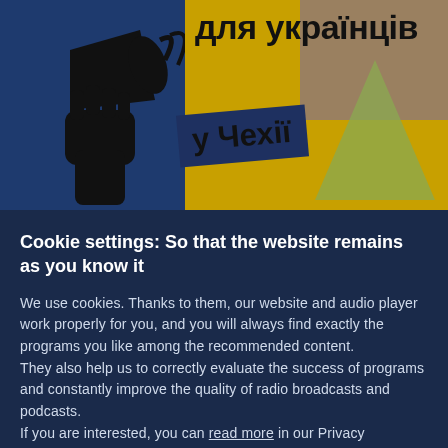[Figure (illustration): Graphic with dark blue background on left showing a black silhouette fist holding a megaphone, and on the right a yellow/gold background with Ukrainian text 'для українців у Чехії' (for Ukrainians in Czech Republic). A tan/khaki block and greenish triangle shape appear on the right side.]
Cookie settings: So that the website remains as you know it
We use cookies. Thanks to them, our website and audio player work properly for you, and you will always find exactly the programs you like among the recommended content.
They also help us to correctly evaluate the success of programs and constantly improve the quality of radio broadcasts and podcasts.
If you are interested, you can read more in our Privacy